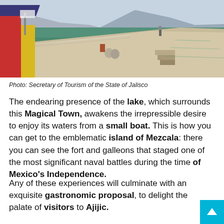[Figure (photo): A lakeside pier/boardwalk with colorful buildings on the left side, a concrete walkway extending toward the water, and a large lake with mountains in the background under an overcast sky. Location appears to be Ajijic, Jalisco, Mexico (Lake Chapala area).]
Photo: Secretary of Tourism of the State of Jalisco
The endearing presence of the lake, which surrounds this Magical Town, awakens the irrepressible desire to enjoy its waters from a small boat. This is how you can get to the emblematic island of Mezcala: there you can see the fort and galleons that staged one of the most significant naval battles during the time of Mexico's Independence.
Any of these experiences will culminate with an exquisite gastronomic proposal, to delight the palate of visitors to Ajijic.